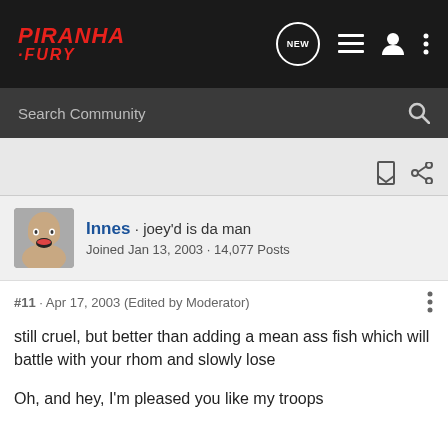PIRANHA FURY — Search Community navigation bar
Search Community
Innes · joey&#39;d is da man
Joined Jan 13, 2003 · 14,077 Posts
#11 · Apr 17, 2003 (Edited by Moderator)
still cruel, but better than adding a mean ass fish which will battle with your rhom and slowly lose

Oh, and hey, I'm pleased you like my troops